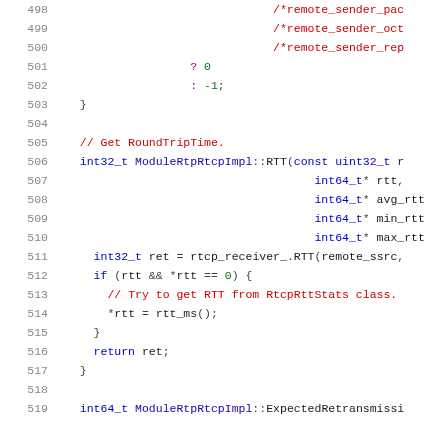[Figure (screenshot): Source code viewer showing C++ code lines 498-519 from a WebRTC/RTP/RTCP implementation file. Lines show continuation of a ternary expression, a GetRoundTripTime comment, ModuleRtpRtcpImpl::RTT function definition, and supporting code.]